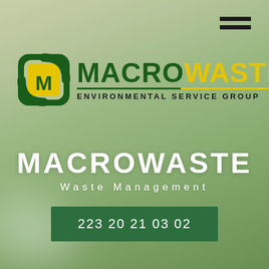[Figure (logo): MacroWaste Environmental Service Group logo with green rounded square icon containing yellow M letter, green MACRO and yellow WASTE wordmark, and ENVIRONMENTAL SERVICE GROUP tagline]
MACROWASTE
Waste Management
223 20 21 03 02